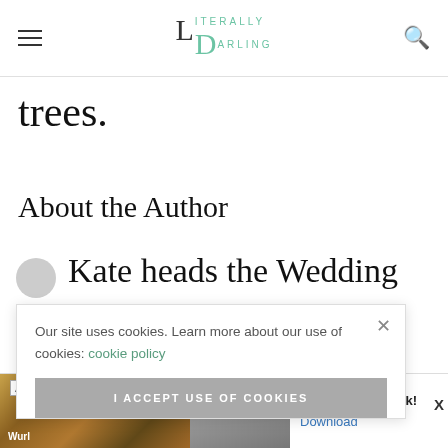Literally Darling (logo/nav)
trees.
About the Author
Kate heads the Wedding
Our site uses cookies. Learn more about our use of cookies: cookie policy
I ACCEPT USE OF COOKIES
s an expert
[Figure (photo): Ad banner with wolf pack images and text 'Join the wolf pack! Download']